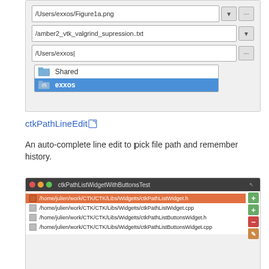[Figure (screenshot): Screenshot of a file path dialog showing input fields with paths /Users/exxos/Figure1a.png, /amber2_vtk_valgrind_supression.txt, /Users/exxos with a dropdown showing 'Shared' and highlighted 'exxos' entries]
ctkPathLineEdit
An auto-complete line edit to pick file path and remember history.
[Figure (screenshot): Screenshot of ctkPathListWidgetWithButtonsTest window showing a list of file paths: /home/julien/work/CTK/CTK/Libs/Widgets/ctkPathListWidget.h (selected, orange), /home/julien/work/CTK/CTK/Libs/Widgets/ctkPathListWidget.cpp, /home/julien/work/CTK/CTK/Libs/Widgets/ctkPathListButtonsWidget.h, /home/julien/work/CTK/CTK/Libs/Widgets/ctkPathListButtonsWidget.cpp, with + + - and pencil buttons on the right]